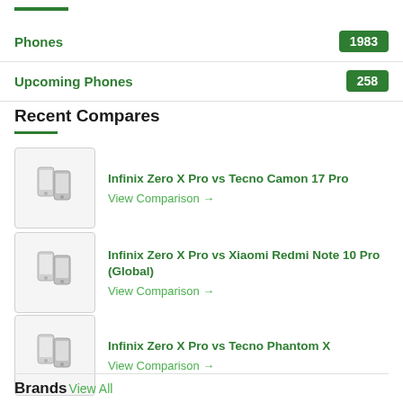Phones 1983
Upcoming Phones 258
Recent Compares
Infinix Zero X Pro vs Tecno Camon 17 Pro
View Comparison →
Infinix Zero X Pro vs Xiaomi Redmi Note 10 Pro (Global)
View Comparison →
Infinix Zero X Pro vs Tecno Phantom X
View Comparison →
Brands View All